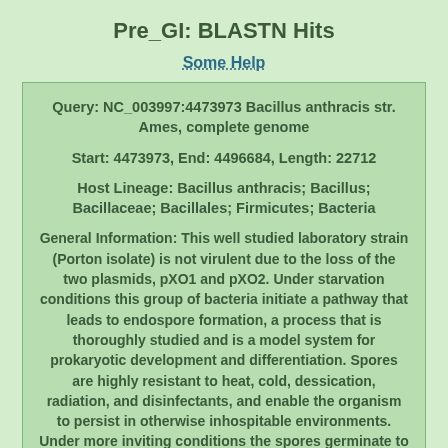Pre_GI: BLASTN Hits
Some Help
Query: NC_003997:4473973 Bacillus anthracis str. Ames, complete genome
Start: 4473973, End: 4496684, Length: 22712
Host Lineage: Bacillus anthracis; Bacillus; Bacillaceae; Bacillales; Firmicutes; Bacteria
General Information: This well studied laboratory strain (Porton isolate) is not virulent due to the loss of the two plasmids, pXO1 and pXO2. Under starvation conditions this group of bacteria initiate a pathway that leads to endospore formation, a process that is thoroughly studied and is a model system for prokaryotic development and differentiation. Spores are highly resistant to heat, cold, dessication, radiation, and disinfectants, and enable the organism to persist in otherwise inhospitable environments. Under more inviting conditions the spores germinate to produce vegetative